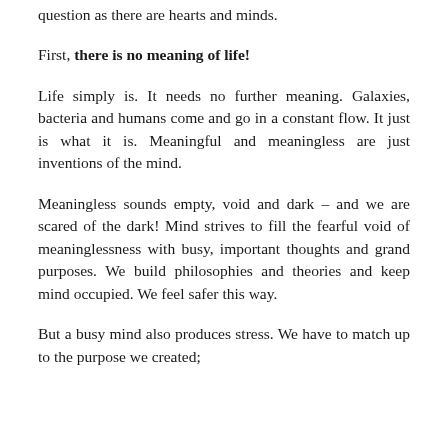question as there are hearts and minds.
First, there is no meaning of life!
Life simply is. It needs no further meaning. Galaxies, bacteria and humans come and go in a constant flow. It just is what it is. Meaningful and meaningless are just inventions of the mind.
Meaningless sounds empty, void and dark – and we are scared of the dark! Mind strives to fill the fearful void of meaninglessness with busy, important thoughts and grand purposes. We build philosophies and theories and keep mind occupied. We feel safer this way.
But a busy mind also produces stress. We have to match up to the purpose we created;